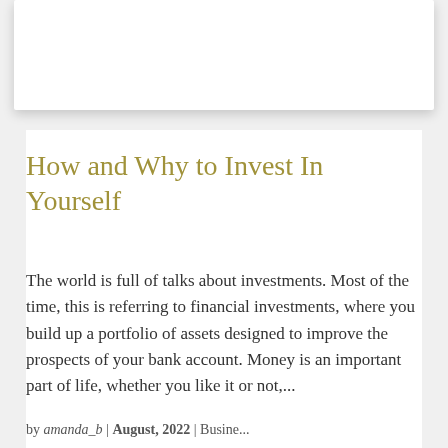[Figure (other): White card/banner area at the top of the page with a drop shadow, representing a decorative header image placeholder]
How and Why to Invest In Yourself
The world is full of talks about investments. Most of the time, this is referring to financial investments, where you build up a portfolio of assets designed to improve the prospects of your bank account. Money is an important part of life, whether you like it or not,...
by amanda_b | August, 2022 | Busine...